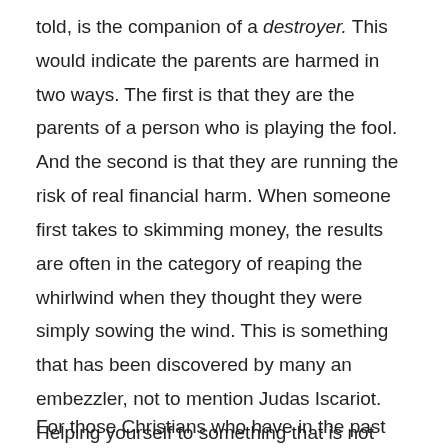told, is the companion of a destroyer. This would indicate the parents are harmed in two ways. The first is that they are the parents of a person who is playing the fool. And the second is that they are running the risk of real financial harm. When someone first takes to skimming money, the results are often in the category of reaping the whirlwind when they thought they were simply sowing the wind. This is something that has been discovered by many an embezzler, not to mention Judas Iscariot. Helping yourself to something that is not yours is a set up for far greater disasters.
For those Christians who have in the past stolen